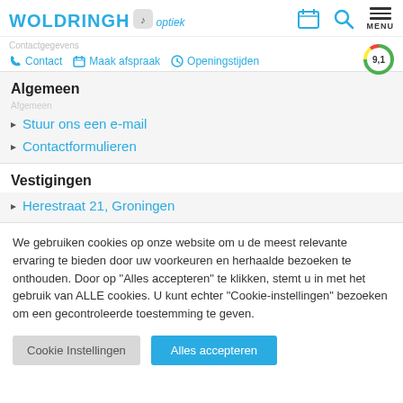WOLDRINGH optiek
Contactgegevens
Contact  Maak afspraak  Openingstijden  9,1
Algemeen
Stuur ons een e-mail
Contactformulieren
Vestigingen
Herestraat 21, Groningen
We gebruiken cookies op onze website om u de meest relevante ervaring te bieden door uw voorkeuren en herhaalde bezoeken te onthouden. Door op "Alles accepteren" te klikken, stemt u in met het gebruik van ALLE cookies. U kunt echter "Cookie-instellingen" bezoeken om een gecontroleerde toestemming te geven.
Cookie Instellingen  Alles accepteren